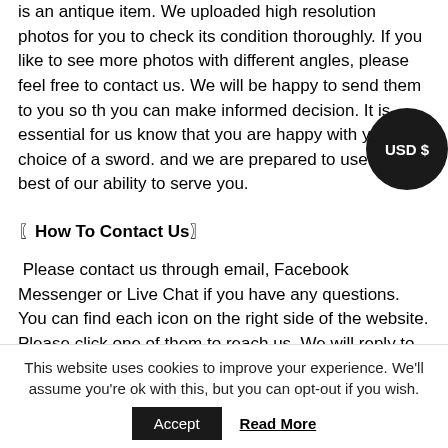Please keep in mind that what you are going to purchase is an antique item. We uploaded high resolution photos for you to check its condition thoroughly. If you like to see more photos with different angles, please feel free to contact us. We will be happy to send them to you so that you can make informed decision. It is essential for us to know that you are happy with your choice of a sword. and we are prepared to use the best of our ability to serve you.
〖How To Contact Us〗
Please contact us through email, Facebook Messenger or Live Chat if you have any questions. You can find each icon on the right side of the website. Please click one of them to reach us. We will reply to you within 1-2 busin...
This website uses cookies to improve your experience. We'll assume you're ok with this, but you can opt-out if you wish.